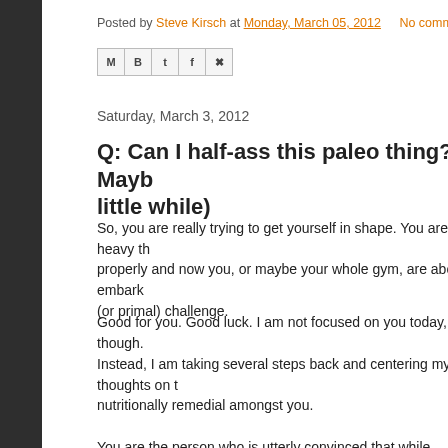Posted by Steve Kirsch at Monday, March 05, 2012   No comments:
[Figure (other): Social share buttons: Gmail, Blogger, Twitter, Facebook, Pinterest]
Saturday, March 3, 2012
Q: Can I half-ass this paleo thing? A: Maybe (for a little while)
So, you are really trying to get yourself in shape. You are lifting heavy th properly and now you, or maybe your whole gym, are about to embark (or primal) challenge.
Good for you. Good luck. I am not focused on you today, though.
Instead, I am taking several steps back and centering my thoughts on t nutritionally remedial amongst you.
You are the person who is utterly convinced that while paleo/primal sou idea on paper, it is clearly not for you. Not right now. The thought of, to *all* the bad stuff, particularly all grains, sounds like it will be as unsucco other "diet" out there has ever been for you. It also just sounds, well, aw fun" police have suddenly taken over your life.